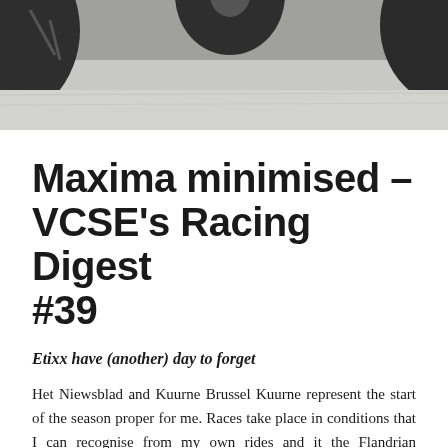[Figure (photo): Black and white photograph showing bicycle wheels/tires against a concrete ground, partial view from above]
Maxima minimised – VCSE's Racing Digest #39
Etixx have (another) day to forget
Het Niewsblad and Kuurne Brussel Kuurne represent the start of the season proper for me. Races take place in conditions that I can recognise from my own rides and it the Flandrian landscape doesn't feel too dissimilar to the windswept Essex roads that I do the